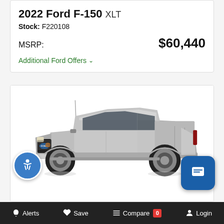2022 Ford F-150 XLT
Stock: F220108
MSRP: $60,440
Additional Ford Offers
[Figure (photo): Silver 2022 Ford F-150 XLT pickup truck, three-quarter front view on white background]
Alerts  Save  Compare 0  Login